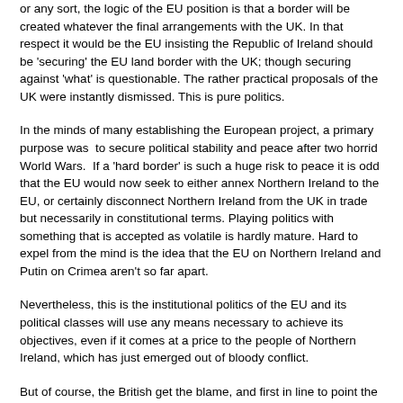or any sort, the logic of the EU position is that a border will be created whatever the final arrangements with the UK. In that respect it would be the EU insisting the Republic of Ireland should be 'securing' the EU land border with the UK; though securing against 'what' is questionable. The rather practical proposals of the UK were instantly dismissed. This is pure politics.
In the minds of many establishing the European project, a primary purpose was to secure political stability and peace after two horrid World Wars. If a 'hard border' is such a huge risk to peace it is odd that the EU would now seek to either annex Northern Ireland to the EU, or certainly disconnect Northern Ireland from the UK in trade but necessarily in constitutional terms. Playing politics with something that is accepted as volatile is hardly mature. Hard to expel from the mind is the idea that the EU on Northern Ireland and Putin on Crimea aren't so far apart.
Nevertheless, this is the institutional politics of the EU and its political classes will use any means necessary to achieve its objectives, even if it comes at a price to the people of Northern Ireland, which has just emerged out of bloody conflict.
But of course, the British get the blame, and first in line to point the finger